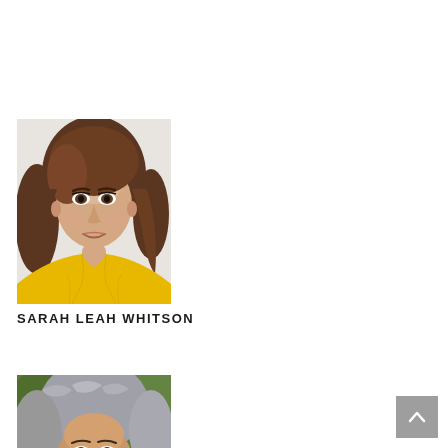[Figure (photo): Portrait photo of Sarah Leah Whitson, a woman with medium-length brown hair wearing a yellow halter-neck top, photographed against a white background.]
SARAH LEAH WHITSON
[Figure (photo): Partial portrait photo of a woman with wavy gray/silver hair, photographed outdoors with a green background, only the upper portion of the face is visible.]